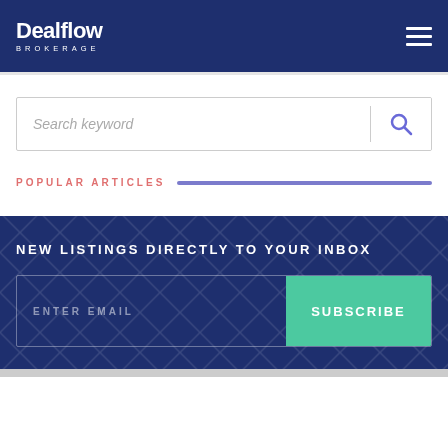Dealflow BROKERAGE
Search keyword
POPULAR ARTICLES
NEW LISTINGS DIRECTLY TO YOUR INBOX
ENTER EMAIL
SUBSCRIBE